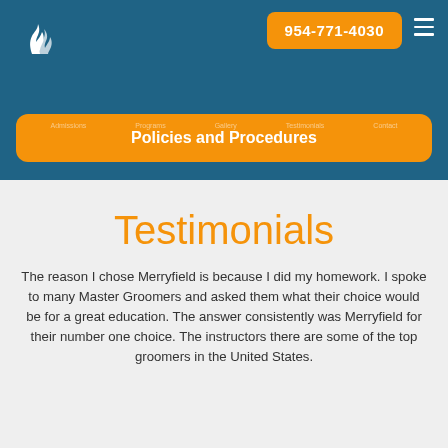[Figure (logo): White horse/pegasus logo on teal background]
954-771-4030
Policies and Procedures
Testimonials
The reason I chose Merryfield is because I did my homework. I spoke to many Master Groomers and asked them what their choice would be for a great education. The answer consistently was Merryfield for their number one choice. The instructors there are some of the top groomers in the United States.